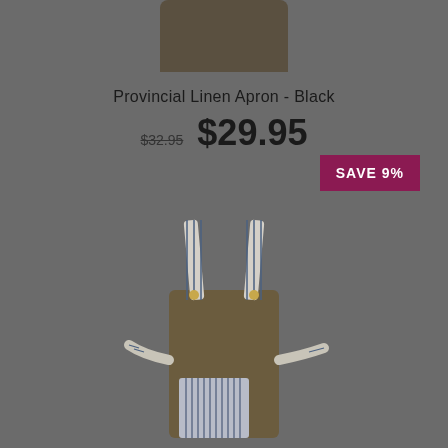[Figure (photo): Top portion of an olive/khaki linen apron product photo on grey background]
Provincial Linen Apron - Black
$32.95 $29.95
SAVE 9%
[Figure (photo): Full view of an olive/khaki linen apron with blue and white striped neck strap, waist ties, and front pocket, displayed on grey background]